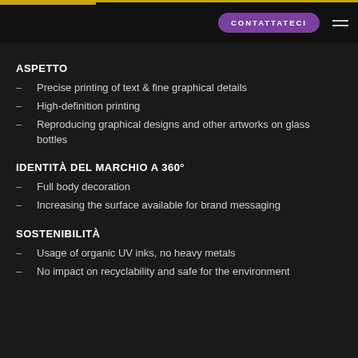CONTATTATECI
ASPETTO
Precise printing of text & fine graphical details
High-definition printing
Reproducing graphical designs and other artworks on glass bottles
IDENTITÀ DEL MARCHIO A 360°
Full body decoration
Increasing the surface available for brand messaging
SOSTENIBILITÀ
Usage of organic UV inks, no heavy metals
No impact on recyclability and safe for the environment